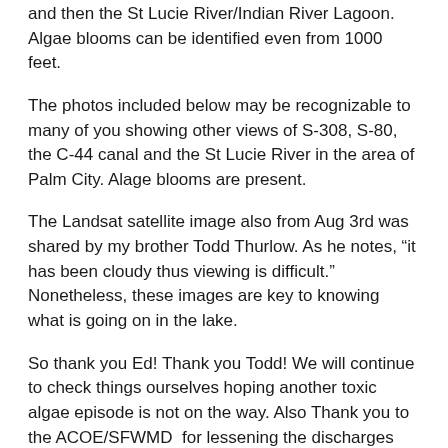and then the St Lucie River/Indian River Lagoon. Algae blooms can be identified even from 1000 feet.
The photos included below may be recognizable to many of you showing other views of S-308, S-80, the C-44 canal and the St Lucie River in the area of Palm City. Alage blooms are present.
The Landsat satellite image also from Aug 3rd was shared by my brother Todd Thurlow. As he notes, “it has been cloudy thus viewing is difficult.” Nonetheless, these images are key to knowing what is going on in the lake.
So thank you Ed! Thank you Todd! We will continue to check things ourselves hoping another toxic algae episode is not on the way. Also Thank you to the ACOE/SFWMD  for lessening the discharges from Lake Okeechobee to the estuaries since e June 29th. Better but not best. The long term goal? Clean up this water and re-plumb this state.